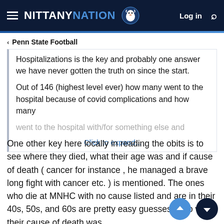NITTANY NATION — Log in [search]
< Penn State Football
Hospitalizations is the key and probably one answer we have never gotten the truth on since the start.

Out of 146 (highest level ever) how many went to the hospital because of covid complications and how many went to the hospital with/for something else and

Click to expand...
One other key here locally in reading the obits is to see where they died, what their age was and if cause of death ( cancer for instance , he managed a brave long fight with cancer etc. ) is mentioned. The ones who die at MNHC with no cause listed and are in their 40s, 50s, and 60s are pretty easy guesses as to what their cause of death was.